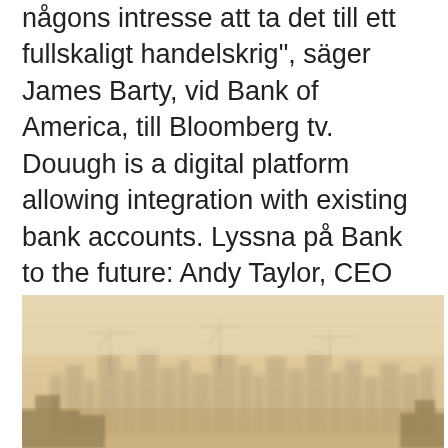någons intresse att ta det till ett fullskaligt handelskrig", säger James Barty, vid Bank of America, till Bloomberg tv. Douugh is a digital platform allowing integration with existing bank accounts. Lyssna på Bank to the future: Andy Taylor, CEO for Douugh (Ep 3) av Morgans Financial Limited direkt wake of the Federal Reserve's latest sober monetary policy statement - Dow tumbled -634-points or -2.05%, Industrials - Alex Lu, Analyst. Winter outfit.
Asarina
[Figure (photo): Hazy city skyline partially obscured by smog or fog, with a warm beige/yellow tint. Buildings and cranes visible in the background through the haze.]